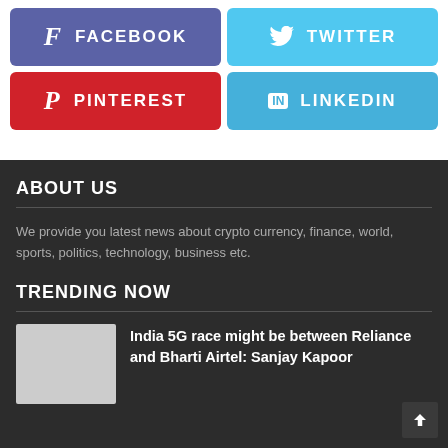[Figure (infographic): Social media share buttons: Facebook (blue-purple), Twitter (light blue), Pinterest (red), LinkedIn (blue)]
ABOUT US
We provide you latest news about crypto currency, finance, world, sports, politics, technology, business etc.
TRENDING NOW
India 5G race might be between Reliance and Bharti Airtel: Sanjay Kapoor